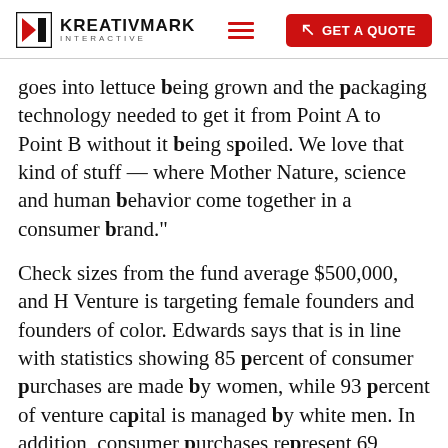KREATIVMARK INTERACTIVE — GET A QUOTE
goes into lettuce being grown and the packaging technology needed to get it from Point A to Point B without it being spoiled. We love that kind of stuff — where Mother Nature, science and human behavior come together in a consumer brand."
Check sizes from the fund average $500,000, and H Venture is targeting female founders and founders of color. Edwards says that is in line with statistics showing 85 percent of consumer purchases are made by women, while 93 percent of venture capital is managed by white men. In addition, consumer purchases represent 69 percent of U.S. gross domestic product, but only